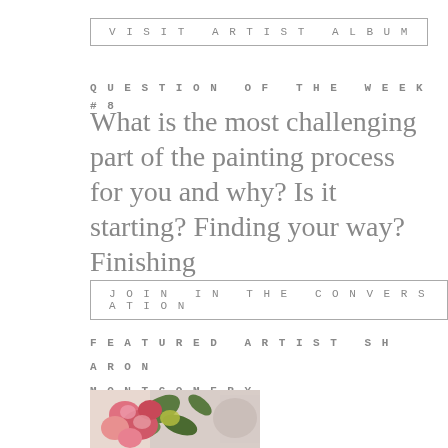VISIT ARTIST ALBUM
QUESTION OF THE WEEK #8
What is the most challenging part of the painting process for you and why? Is it starting? Finding your way? Finishing
JOIN IN THE CONVERSATION
FEATURED ARTIST SHARON MONTGOMERY
[Figure (photo): Painting of pink flowers with green leaves, impressionistic floral artwork]